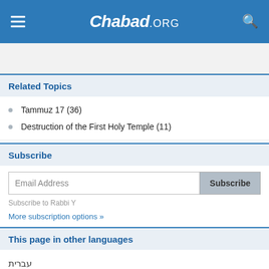Chabad.ORG
Related Topics
Tammuz 17 (36)
Destruction of the First Holy Temple (11)
Subscribe
Email Address
Subscribe to Rabbi Y
More subscription options »
This page in other languages
עברית